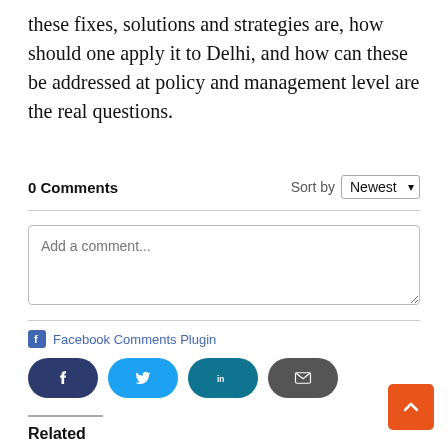these fixes, solutions and strategies are, how should one apply it to Delhi, and how can these be addressed at policy and management level are the real questions.
0 Comments
Sort by Newest
Add a comment...
Facebook Comments Plugin
Related